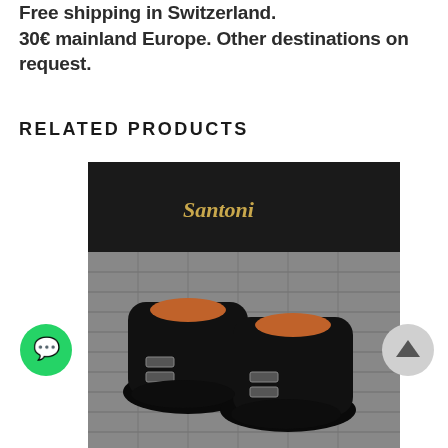Free shipping in Switzerland. 30€ mainland Europe. Other destinations on request.
RELATED PRODUCTS
[Figure (photo): Black leather double monk strap shoes by Santoni displayed on stone pavement in front of a Santoni store entrance with gold brand logo signage]